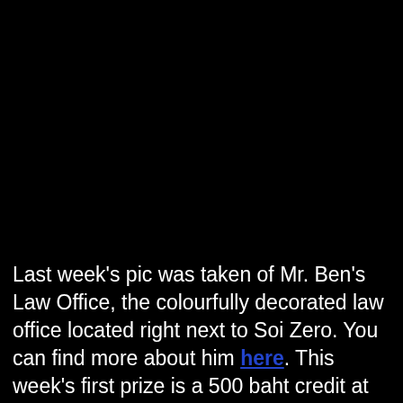[Figure (photo): Black image area occupying the top portion of the page, appears to be a dark or underexposed photograph.]
Last week's pic was taken of Mr. Ben's Law Office, the colourfully decorated law office located right next to Soi Zero. You can find more about him here. This week's first prize is a 500 baht credit at Tony's Bar in Soi Cowboy. Prizes number 2 and 3 are a 600 baht dinner voucher for 2 to be used at Sin in Sukhumvit